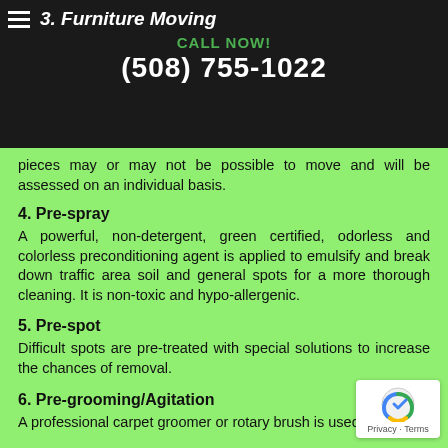3. Furniture Moving
Our regular pricing includes moving sofas, chairs, tables and smaller pieces, and heavier pieces may or may not be possible to move and will be assessed on an individual basis.
4. Pre-spray
A powerful, non-detergent, green certified, odorless and colorless preconditioning agent is applied to emulsify and break down traffic area soil and general spots for a more thorough cleaning. It is non-toxic and hypo-allergenic.
5. Pre-spot
Difficult spots are pre-treated with special solutions to increase the chances of removal.
6. Pre-grooming/Agitation
A professional carpet groomer or rotary brush is used